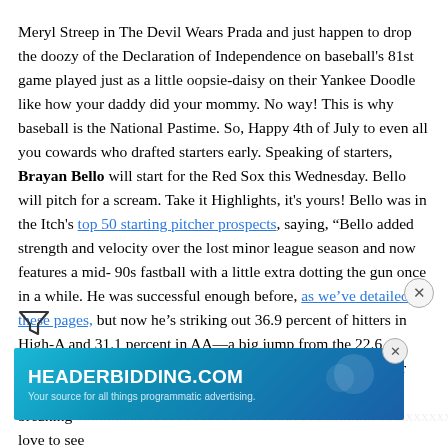Meryl Streep in The Devil Wears Prada and just happen to drop the doozy of the Declaration of Independence on baseball's 81st game played just as a little oopsie-daisy on their Yankee Doodle like how your daddy did your mommy. No way! This is why baseball is the National Pastime. So, Happy 4th of July to even all you cowards who drafted starters early. Speaking of starters, Brayan Bello will start for the Red Sox this Wednesday. Bello will pitch for a scream. Take it Highlights, it's yours! Bello was in the Itch's top 50 starting pitcher prospects, saying, “Bello added strength and velocity over the lost minor league season and now features a mid-90s fastball with a little extra dotting the gun once in a while. He was successful enough before, as we’ve detailed in these pages, but now he’s striking out 36.9 percent of hitters in High-A and 31.1 percent in AA—a big jump from the 22.6 percent he posted in 2019. His fastball gets a bit too much for him to be a no-doubt starter unless he finds a nasty breaking... I love to see him... In a
[Figure (other): Advertisement banner for HEADERBIDDING.COM with tagline 'Your source for all things programmatic advertising.' shown in blue/teal gradient with a close button and X icon.]